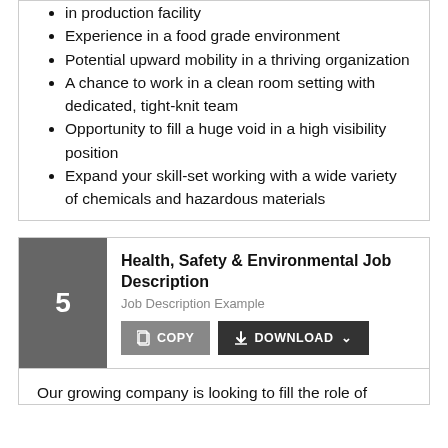in production facility
Experience in a food grade environment
Potential upward mobility in a thriving organization
A chance to work in a clean room setting with dedicated, tight-knit team
Opportunity to fill a huge void in a high visibility position
Expand your skill-set working with a wide variety of chemicals and hazardous materials
Health, Safety & Environmental Job Description
Job Description Example
COPY   DOWNLOAD
Our growing company is looking to fill the role of